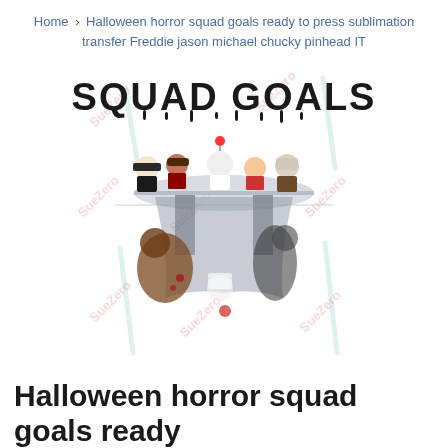Home › Halloween horror squad goals ready to press sublimation transfer Freddie jason michael chucky pinhead IT
[Figure (illustration): Product image showing 'Squad Goals' Halloween horror characters sublimation transfer design. Top half shows cute chibi-style versions of horror characters (Michael Myers, Freddy Krueger, Pennywise IT clown, Chucky, Jason Voorhees) sitting at a table. Bottom half is a mirror reflection showing realistic/scary versions of the same characters inverted. 'SQUAD GOALS' text in dripping horror font at top. SueZero watermarks throughout.]
Halloween horror squad goals ready